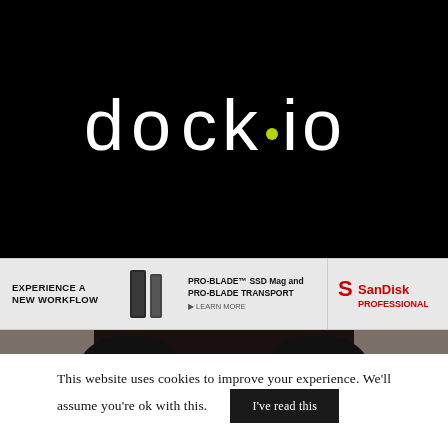[Figure (logo): dock.io logo in white text on black background, with a yellow-green dot between 'dock' and 'io']
[Figure (infographic): Advertisement banner: 'EXPERIENCE A NEW WORKFLOW' with SanDisk Professional PRO-BLADE SSD Mag and PRO-BLADE TRANSPORT product images and logo]
[Figure (photo): Photo strip showing top of a person's head with dark hair]
This website uses cookies to improve your experience. We'll assume you're ok with this.
I've read this